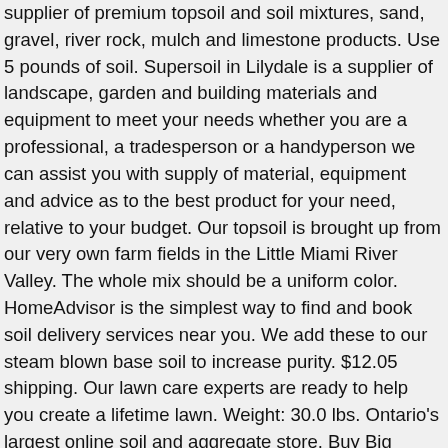supplier of premium topsoil and soil mixtures, sand, gravel, river rock, mulch and limestone products. Use 5 pounds of soil. Supersoil in Lilydale is a supplier of landscape, garden and building materials and equipment to meet your needs whether you are a professional, a tradesperson or a handyperson we can assist you with supply of material, equipment and advice as to the best product for your need, relative to your budget. Our topsoil is brought up from our very own farm fields in the Little Miami River Valley. The whole mix should be a uniform color. HomeAdvisor is the simplest way to find and book soil delivery services near you. We add these to our steam blown base soil to increase purity. $12.05 shipping. Our lawn care experts are ready to help you create a lifetime lawn. Weight: 30.0 lbs. Ontario's largest online soil and aggregate store. Buy Big Yellow Bags of Soil³ online! we Enrich Outdoor Living Spaces with Topsoil and Mulch. SuperSoil is a perfect all-purpose soil for promoting stronger, healthier plants and lawns. We sell Pure Black Loam, Black Garden Mix, Top Soil, Triple Mix, Enriched Soil Blends, Premium